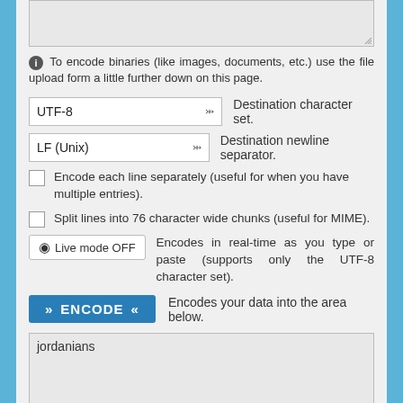[Figure (screenshot): Textarea input box (top, partially visible, with resize handle)]
To encode binaries (like images, documents, etc.) use the file upload form a little further down on this page.
UTF-8  Destination character set.
LF (Unix)  Destination newline separator.
Encode each line separately (useful for when you have multiple entries).
Split lines into 76 character wide chunks (useful for MIME).
Live mode OFF  Encodes in real-time as you type or paste (supports only the UTF-8 character set).
ENCODE  Encodes your data into the area below.
jordanians